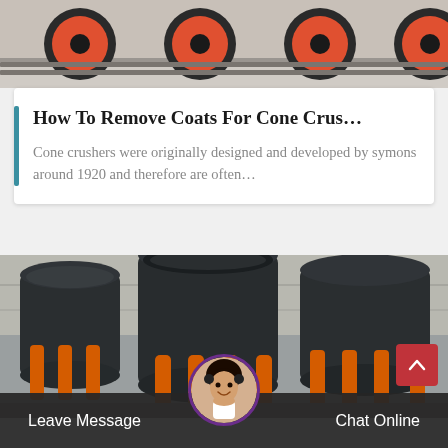[Figure (photo): Industrial machinery with red wheels/rollers on rail tracks in a warehouse setting]
How To Remove Coats For Cone Crus…
Cone crushers were originally designed and developed by symons around 1920 and therefore are often…
[Figure (photo): Industrial cone crushers in a factory/warehouse, black cylindrical machines with orange hydraulic cylinders]
Leave Message   Chat Online